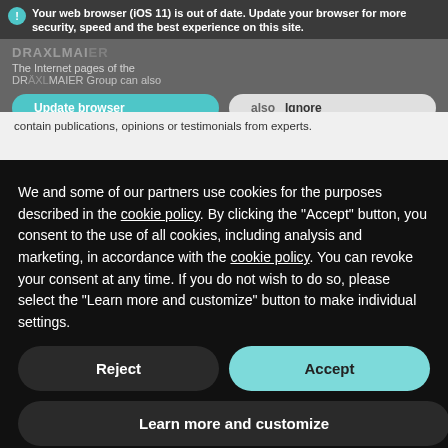Your web browser (iOS 11) is out of date. Update your browser for more security, speed and the best experience on this site.
The Internet pages of the DRÄXLMAIER Group can also contain publications, opinions or testimonials from experts.
We and some of our partners use cookies for the purposes described in the cookie policy. By clicking the "Accept" button, you consent to the use of all cookies, including analysis and marketing, in accordance with the cookie policy. You can revoke your consent at any time. If you do not wish to do so, please select the "Learn more and customize" button to make individual settings.
Reject
Accept
Learn more and customize